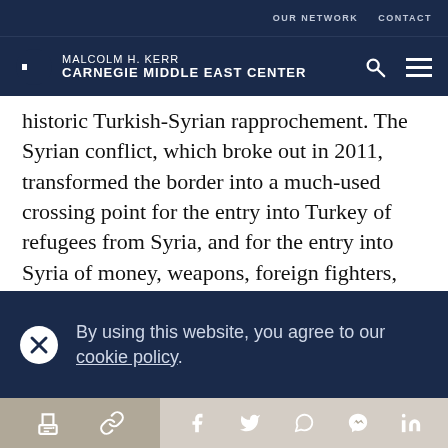OUR NETWORK   CONTACT
MALCOLM H. KERR CARNEGIE MIDDLE EAST CENTER
historic Turkish-Syrian rapprochement. The Syrian conflict, which broke out in 2011, transformed the border into a much-used crossing point for the entry into Turkey of refugees from Syria, and for the entry into Syria of money, weapons, foreign fighters, and even the Turkish army. In many ways, the two
By using this website, you agree to our cookie policy.
Share icons: print, link, facebook, twitter, whatsapp, messenger, linkedin